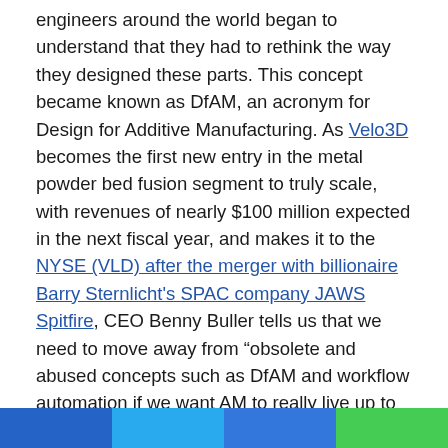engineers around the world began to understand that they had to rethink the way they designed these parts. This concept became known as DfAM, an acronym for Design for Additive Manufacturing. As Velo3D becomes the first new entry in the metal powder bed fusion segment to truly scale, with revenues of nearly $100 million expected in the next fiscal year, and makes it to the NYSE (VLD) after the merger with billionaire Barry Sternlicht's SPAC company JAWS Spitfire, CEO Benny Buller tells us that we need to move away from “obsolete and abused concepts such as DfAM and workflow automation if we want AM to really live up to its promise”. As disrupting manufacturing paradigms is exactly what AM has been doing since the start, this sounds like something we want to hear more about.
“We need to free AM from the constraints of this idea, which
[Figure (other): Footer color bar with four colored segments: dark blue, light blue, medium blue, green]